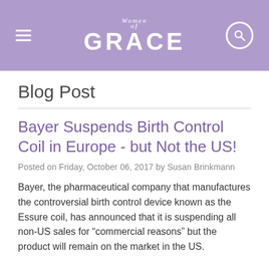[Figure (logo): Women of Grace website header with purple background, hamburger menu icon on left, Women of Grace logo text in center, and search icon on right]
Blog Post
Bayer Suspends Birth Control Coil in Europe - but Not the US!
Posted on Friday, October 06, 2017 by Susan Brinkmann
Bayer, the pharmaceutical company that manufactures the controversial birth control device known as the Essure coil, has announced that it is suspending all non-US sales for “commercial reasons” but the product will remain on the market in the US.